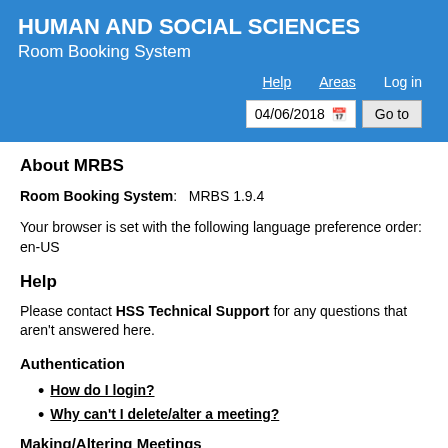HUMAN AND SOCIAL SCIENCES Room Booking System
Help   Areas   Log in   04/06/2018   Go to
About MRBS
Room Booking System:   MRBS 1.9.4
Your browser is set with the following language preference order: en-US
Help
Please contact HSS Technical Support for any questions that aren't answered here.
Authentication
How do I login?
Why can't I delete/alter a meeting?
Making/Altering Meetings